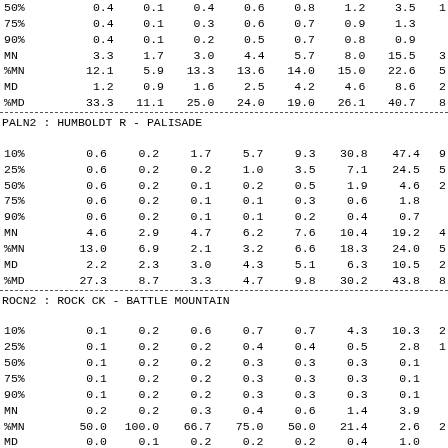|  | col1 | col2 | col3 | col4 | col5 | col6 | col7 | col8 |
| --- | --- | --- | --- | --- | --- | --- | --- | --- |
| 50% | 0.4 | 0.1 | 0.4 | 0.6 | 0.8 | 1.2 | 3.5 | 1 |
| 75% | 0.4 | 0.1 | 0.3 | 0.6 | 0.7 | 0.9 | 1.3 |  |
| 90% | 0.4 | 0.1 | 0.2 | 0.5 | 0.7 | 0.8 | 0.9 |  |
| MN | 3.3 | 1.7 | 3.0 | 4.4 | 5.7 | 8.0 | 15.5 | 3 |
| %MN | 12.1 | 5.9 | 13.3 | 13.6 | 14.0 | 15.0 | 22.6 | 5 |
| MD | 1.2 | 0.9 | 1.6 | 2.5 | 4.2 | 4.6 | 8.6 | 2 |
| %MD | 33.3 | 11.1 | 25.0 | 24.0 | 19.0 | 26.1 | 40.7 | 8 |
PALN2 : HUMBOLDT R - PALISADE
|  | col1 | col2 | col3 | col4 | col5 | col6 | col7 | col8 |
| --- | --- | --- | --- | --- | --- | --- | --- | --- |
| 10% | 0.6 | 0.2 | 1.7 | 5.7 | 9.3 | 30.8 | 47.4 | 9 |
| 25% | 0.6 | 0.2 | 0.2 | 1.0 | 3.5 | 7.1 | 24.5 | 5 |
| 50% | 0.6 | 0.2 | 0.1 | 0.2 | 0.5 | 1.9 | 4.6 | 2 |
| 75% | 0.6 | 0.2 | 0.1 | 0.1 | 0.3 | 0.6 | 1.8 |  |
| 90% | 0.6 | 0.2 | 0.1 | 0.1 | 0.2 | 0.4 | 0.7 |  |
| MN | 4.6 | 2.9 | 4.7 | 6.2 | 7.6 | 10.4 | 19.2 | 4 |
| %MN | 13.0 | 6.9 | 2.1 | 3.2 | 6.6 | 18.3 | 24.0 | 5 |
| MD | 2.2 | 2.3 | 3.0 | 4.3 | 5.1 | 6.3 | 10.5 | 2 |
| %MD | 27.3 | 8.7 | 3.3 | 4.7 | 9.8 | 30.2 | 43.8 | 8 |
ROCN2 : ROCK CK - BATTLE MOUNTAIN
|  | col1 | col2 | col3 | col4 | col5 | col6 | col7 | col8 |
| --- | --- | --- | --- | --- | --- | --- | --- | --- |
| 10% | 0.1 | 0.2 | 0.6 | 0.7 | 0.7 | 4.3 | 10.3 | 2 |
| 25% | 0.1 | 0.2 | 0.2 | 0.4 | 0.4 | 0.5 | 2.8 | 1 |
| 50% | 0.1 | 0.2 | 0.2 | 0.3 | 0.3 | 0.3 | 0.1 |  |
| 75% | 0.1 | 0.2 | 0.2 | 0.3 | 0.3 | 0.3 | 0.1 |  |
| 90% | 0.1 | 0.2 | 0.2 | 0.3 | 0.3 | 0.3 | 0.1 |  |
| MN | 0.2 | 0.2 | 0.3 | 0.4 | 0.6 | 1.4 | 3.9 |  |
| %MN | 50.0 | 100.0 | 66.7 | 75.0 | 50.0 | 21.4 | 2.6 | 2 |
| MD | 0.0 | 0.1 | 0.2 | 0.2 | 0.2 | 0.4 | 1.0 |  |